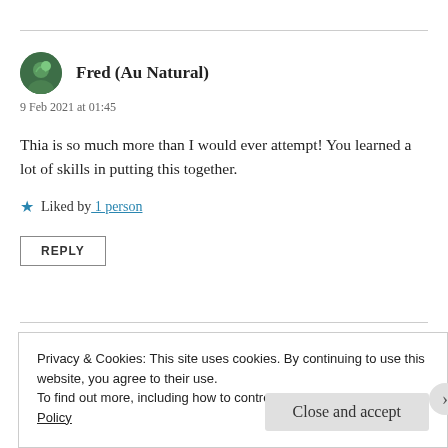Fred (Au Natural)
9 Feb 2021 at 01:45
Thia is so much more than I would ever attempt! You learned a lot of skills in putting this together.
Liked by 1 person
REPLY
Privacy & Cookies: This site uses cookies. By continuing to use this website, you agree to their use.
To find out more, including how to control cookies, see here: Cookie Policy
Close and accept